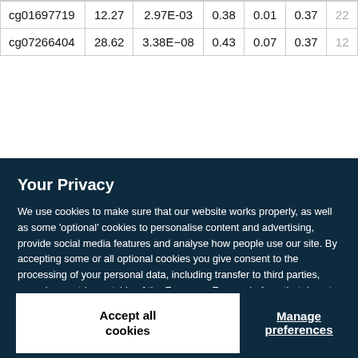|  |  |  |  |  |  |  |
| --- | --- | --- | --- | --- | --- | --- |
| cg01697719 | 12.27 | 2.97E-03 | 0.38 | 0.01 | 0.37 | 22 |
| cg07266404 | 28.62 | 3.38E-08 | 0.43 | 0.07 | 0.37 | 12 |
Your Privacy
We use cookies to make sure that our website works properly, as well as some 'optional' cookies to personalise content and advertising, provide social media features and analyse how people use our site. By accepting some or all optional cookies you give consent to the processing of your personal data, including transfer to third parties, some in countries outside of the European Economic Area that do not offer the same data protection standards as the country where you live. You can decide which optional cookies to accept by clicking on 'Manage Settings', where you can also find more information about how your personal data is processed. Further information can be found in our privacy policy.
Accept all cookies
Manage preferences